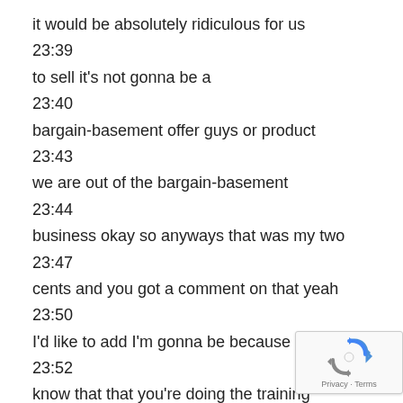it would be absolutely ridiculous for us
23:39
to sell it's not gonna be a
23:40
bargain-basement offer guys or product
23:43
we are out of the bargain-basement
23:44
business okay so anyways that was my two
23:47
cents and you got a comment on that yeah
23:50
I'd like to add I'm gonna be because I I
23:52
know that that you're doing the training
23:54
[Figure (logo): reCAPTCHA logo with Privacy and Terms text]